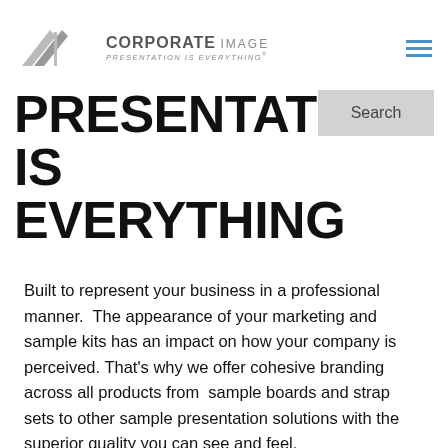CORPORATE IMAGE — PRESENTATION IS EVERYTHING
PRESENTATION IS EVERYTHING
Built to represent your business in a professional manner.  The appearance of your marketing and sample kits has an impact on how your company is perceived. That's why we offer cohesive branding across all products from  sample boards and strap sets to other sample presentation solutions with the superior quality you can see and feel.